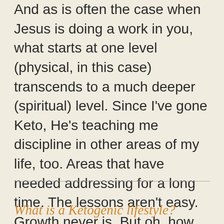And as is often the case when Jesus is doing a work in you, what starts at one level (physical, in this case) transcends to a much deeper (spiritual) level. Since I've gone Keto, He's teaching me discipline in other areas of my life, too. Areas that have needed addressing for a long time. The lessons aren't easy. Growth never is. But oh, how rewarding this journey with Him is!
What is a Ketogenic lifestyle?